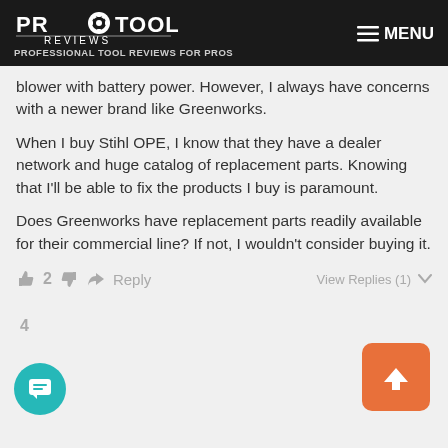PRO TOOL REVIEWS — PROFESSIONAL TOOL REVIEWS FOR PROS
blower with battery power. However, I always have concerns with a newer brand like Greenworks.
When I buy Stihl OPE, I know that they have a dealer network and huge catalog of replacement parts. Knowing that I'll be able to fix the products I buy is paramount.
Does Greenworks have replacement parts readily available for their commercial line? If not, I wouldn't consider buying it.